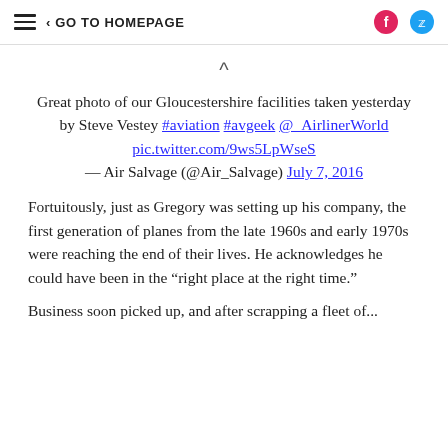GO TO HOMEPAGE
Great photo of our Gloucestershire facilities taken yesterday by Steve Vestey #aviation #avgeek @_AirlinerWorld pic.twitter.com/9ws5LpWseS — Air Salvage (@Air_Salvage) July 7, 2016
Fortuitously, just as Gregory was setting up his company, the first generation of planes from the late 1960s and early 1970s were reaching the end of their lives. He acknowledges he could have been in the “right place at the right time.”
Business soon picked up, and after scrapping a fleet of...